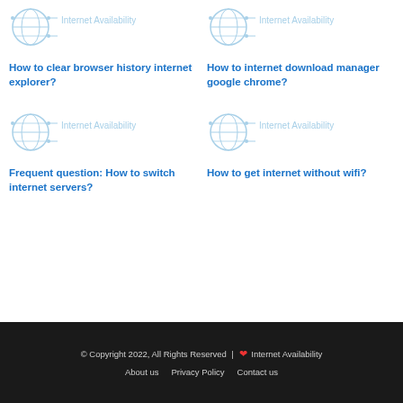[Figure (logo): Internet Availability logo - globe with circuit lines and text]
[Figure (logo): Internet Availability logo - globe with circuit lines and text]
How to clear browser history internet explorer?
How to internet download manager google chrome?
[Figure (logo): Internet Availability logo - globe with circuit lines and text]
[Figure (logo): Internet Availability logo - globe with circuit lines and text]
Frequent question: How to switch internet servers?
How to get internet without wifi?
© Copyright 2022, All Rights Reserved | ❤ Internet Availability  About us  Privacy Policy  Contact us